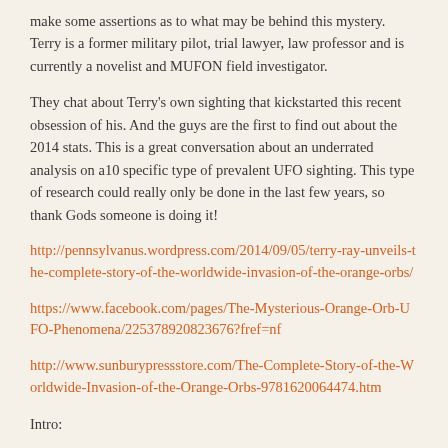make some assertions as to what may be behind this mystery. Terry is a former military pilot, trial lawyer, law professor and is currently a novelist and MUFON field investigator.
They chat about Terry's own sighting that kickstarted this recent obsession of his. And the guys are the first to find out about the 2014 stats. This is a great conversation about an underrated analysis on a10 specific type of prevalent UFO sighting. This type of research could really only be done in the last few years, so thank Gods someone is doing it!
http://pennsylvanus.wordpress.com/2014/09/05/terry-ray-unveils-the-complete-story-of-the-worldwide-invasion-of-the-orange-orbs/
https://www.facebook.com/pages/The-Mysterious-Orange-Orb-UFO-Phenomena/225378920823676?fref=nf
http://www.sunburypressstore.com/The-Complete-Story-of-the-Worldwide-Invasion-of-the-Orange-Orbs-9781620064474.htm
Intro:
Graham and Darren solo in the intro.... Graham talks about a couple of local Orb sightings from friends of theirs. Profound UFO